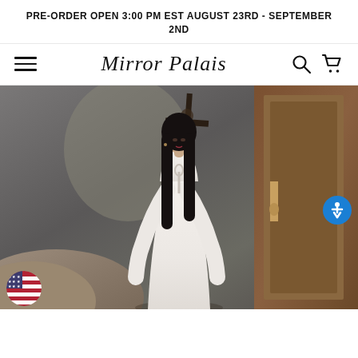PRE-ORDER OPEN 3:00 PM EST AUGUST 23RD - SEPTEMBER 2ND
Mirror Palais
[Figure (photo): Fashion editorial photo of a woman with long dark hair wearing a white long-sleeve deep-V keyhole dress, standing in a moody interior with a cross sculpture and wooden door in the background.]